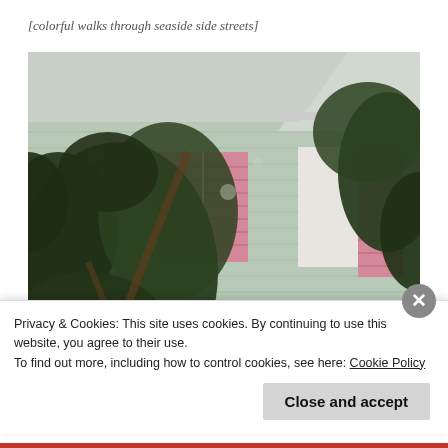[colorful walks through seaside side streets]
[Figure (photo): Photograph of a light green/sage colored wooden house with pink/rose shuttered windows, partially obscured by large magnolia tree leaves and branches. The house has horizontal clapboard siding and white window frames with pink louvered shutters.]
Privacy & Cookies: This site uses cookies. By continuing to use this website, you agree to their use.
To find out more, including how to control cookies, see here: Cookie Policy
Close and accept